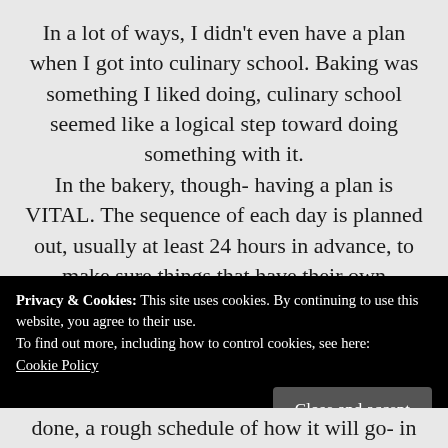In a lot of ways, I didn't even have a plan when I got into culinary school. Baking was something I liked doing, culinary school seemed like a logical step toward doing something with it. In the bakery, though- having a plan is VITAL. The sequence of each day is planned out, usually at least 24 hours in advance, to make sure things that have their own timetable get the attention they need and that materials and effort are not wasted. It's time management
Privacy & Cookies: This site uses cookies. By continuing to use this website, you agree to their use.
To find out more, including how to control cookies, see here:
Cookie Policy
Close and accept
done, a rough schedule of how it will go- in